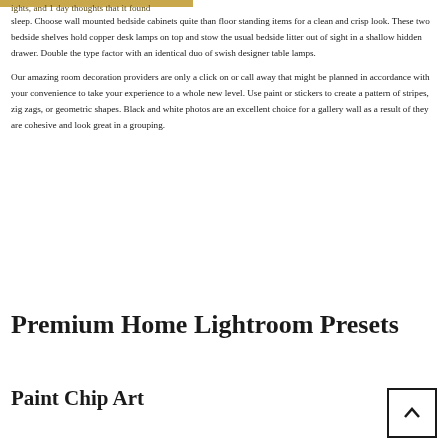…ights, and 1 day thoughts that it found sleep. Choose wall mounted bedside cabinets quite than floor standing items for a clean and crisp look. These two bedside shelves hold copper desk lamps on top and stow the usual bedside litter out of sight in a shallow hidden drawer. Double the type factor with an identical duo of swish designer table lamps.

Our amazing room decoration providers are only a click on or call away that might be planned in accordance with your convenience to take your experience to a whole new level. Use paint or stickers to create a pattern of stripes, zig zags, or geometric shapes. Black and white photos are an excellent choice for a gallery wall as a result of they are cohesive and look great in a grouping.
Premium Home Lightroom Presets
Paint Chip Art